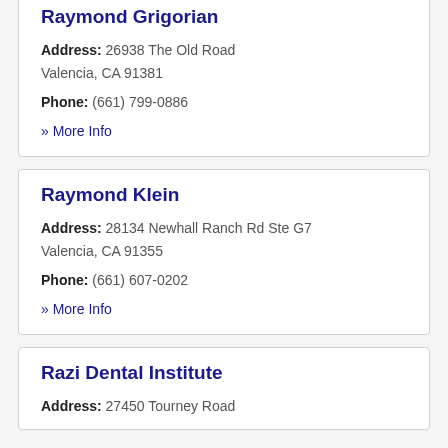Raymond Grigorian
Address: 26938 The Old Road Valencia, CA 91381
Phone: (661) 799-0886
» More Info
Raymond Klein
Address: 28134 Newhall Ranch Rd Ste G7 Valencia, CA 91355
Phone: (661) 607-0202
» More Info
Razi Dental Institute
Address: 27450 Tourney Road